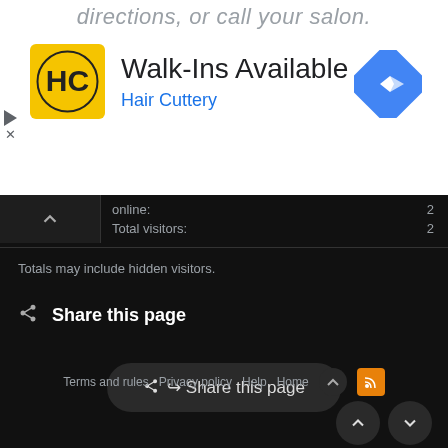[Figure (screenshot): Advertisement banner for Hair Cuttery with 'Walk-Ins Available' text, logo, and Google Maps navigation icon]
directions, or call your salon.
online: 2
Total visitors: 2
Totals may include hidden visitors.
Share this page
↪ Share this page
Terms and rules   Privacy policy   Help   Home